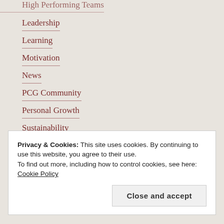High Performing Teams
Leadership
Learning
Motivation
News
PCG Community
Personal Growth
Sustainability
Systems
Triple Bottom Line
Privacy & Cookies: This site uses cookies. By continuing to use this website, you agree to their use.
To find out more, including how to control cookies, see here: Cookie Policy
Close and accept